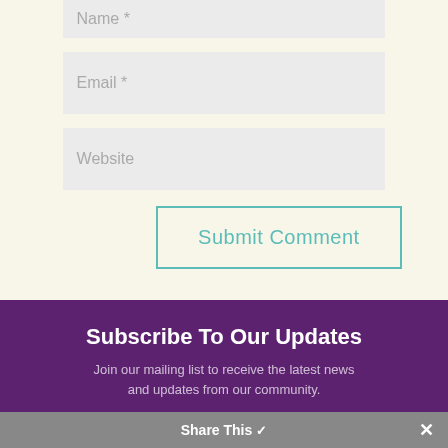Name *
Email *
Website
Submit Comment
Subscribe To Our Updates
Join our mailing list to receive the latest news and updates from our community.
Share This